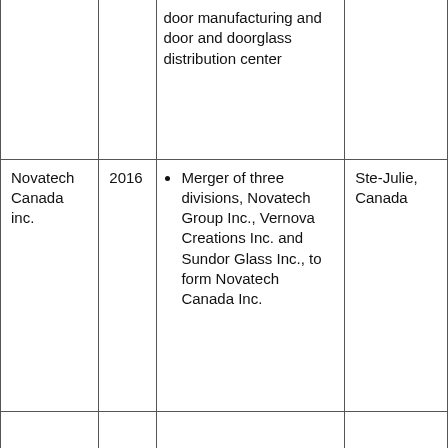|  |  | door manufacturing and door and doorglass distribution center |  |
| Novatech Canada inc. | 2016 | Merger of three divisions, Novatech Group Inc., Vernova Creations Inc. and Sundor Glass Inc., to form Novatech Canada Inc. | Ste-Julie, Canada |
|  |  |  |  |